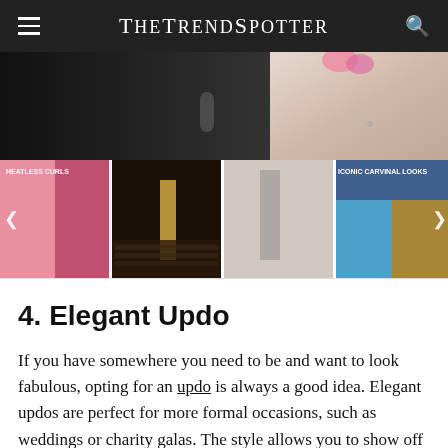THE TREND SPOTTER
[Figure (photo): Hero image showing close-up of people, one in black outfit and one in lighter outfit against pink background]
[Figure (photo): Thumbnail strip showing: HEATLESS CURLS (women with curly hair), fashion runway show, fashion model, ICONIC CARNIVAL LOOKS (women with blue wigs)]
4. Elegant Updo
If you have somewhere you need to be and want to look fabulous, opting for an updo is always a good idea. Elegant updos are perfect for more formal occasions, such as weddings or charity galas. The style allows you to show off your neck and face and compliments your